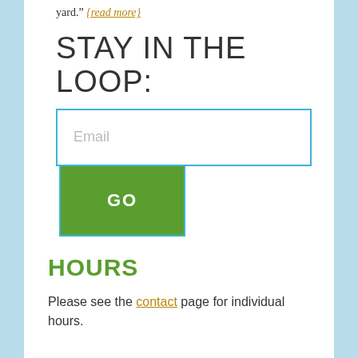yard." {read more}
STAY IN THE LOOP:
[Figure (other): Email signup form with a text input field labeled 'Email' and a green GO button, both outlined in blue.]
HOURS
Please see the contact page for individual hours.